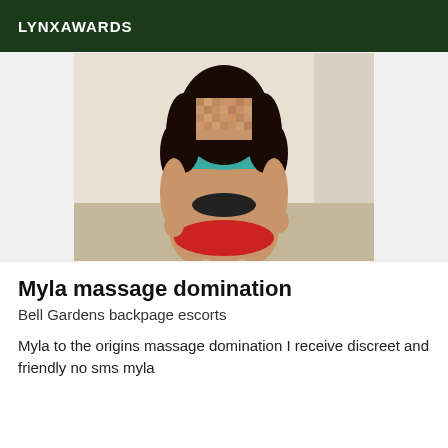LYNXAWARDS
[Figure (photo): Woman with long curly dark hair wearing a teal bikini top and black underwear, kneeling on a red and striped surface. Face is blurred/pixelated.]
Myla massage domination
Bell Gardens backpage escorts
Myla to the origins massage domination I receive discreet and friendly no sms myla